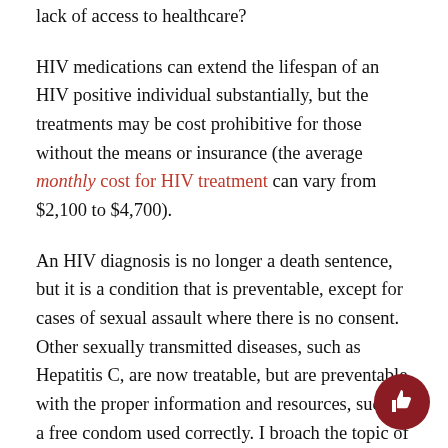lack of access to healthcare?
HIV medications can extend the lifespan of an HIV positive individual substantially, but the treatments may be cost prohibitive for those without the means or insurance (the average monthly cost for HIV treatment can vary from $2,100 to $4,700).
An HIV diagnosis is no longer a death sentence, but it is a condition that is preventable, except for cases of sexual assault where there is no consent. Other sexually transmitted diseases, such as Hepatitis C, are now treatable, but are preventable with the proper information and resources, such as a free condom used correctly. I broach the topic of safer sex with all of my classes.
I believe, as educators, we must overcome our religion-imposed embarrassment in order to provide a holistic education to our students. Is that not why